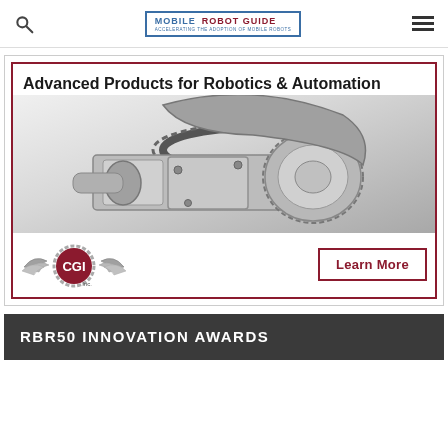MOBILE ROBOT GUIDE — ACCELERATING THE ADOPTION OF MOBILE ROBOTS
[Figure (advertisement): CGI Inc. advertisement: 'Advanced Products for Robotics & Automation' showing a mechanical gear/robotic component with CGI Inc. logo and Learn More button]
RBR50 INNOVATION AWARDS